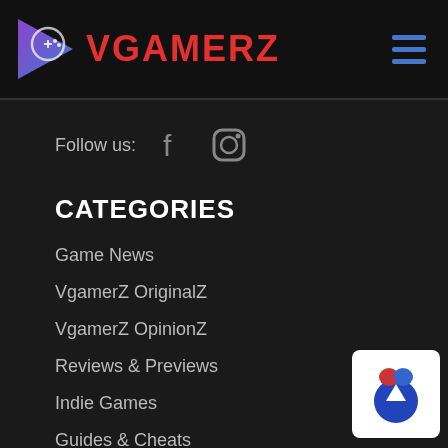VGAMERZ
Follow us:
CATEGORIES
Game News
VgamerZ OriginalZ
VgamerZ OpinionZ
Reviews & Previews
Indie Games
Guides & Cheats